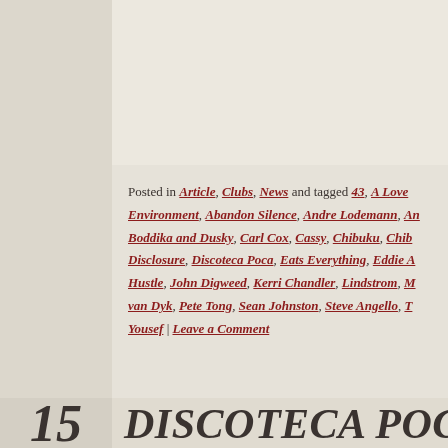Posted in Article, Clubs, News and tagged 43, A Love Environment, Abandon Silence, Andre Lodemann, An... Boddika and Dusky, Carl Cox, Cassy, Chibuku, Chib... Disclosure, Discoteca Poca, Eats Everything, Eddie ... Hustle, John Digweed, Kerri Chandler, Lindstrom, M... van Dyk, Pete Tong, Sean Johnston, Steve Angello, T... Yousef | Leave a Comment
DISCOTECA POCA